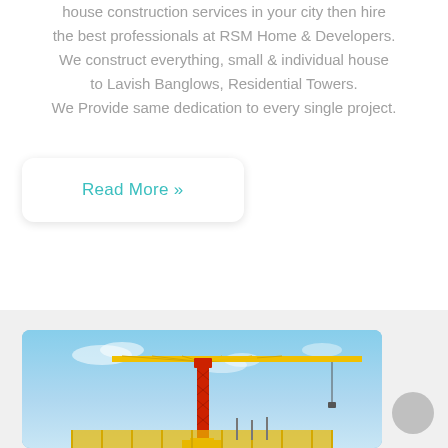house construction services in your city then hire the best professionals at RSM Home & Developers. We construct everything, small & individual house to Lavish Banglows, Residential Towers. We Provide same dedication to every single project.
Read More »
[Figure (photo): A yellow and red tower crane against a blue sky, with construction fencing in the foreground]